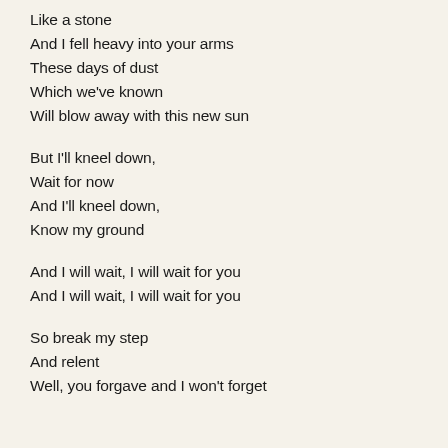Like a stone
And I fell heavy into your arms
These days of dust
Which we've known
Will blow away with this new sun
But I'll kneel down,
Wait for now
And I'll kneel down,
Know my ground
And I will wait, I will wait for you
And I will wait, I will wait for you
So break my step
And relent
Well, you forgave and I won't forget